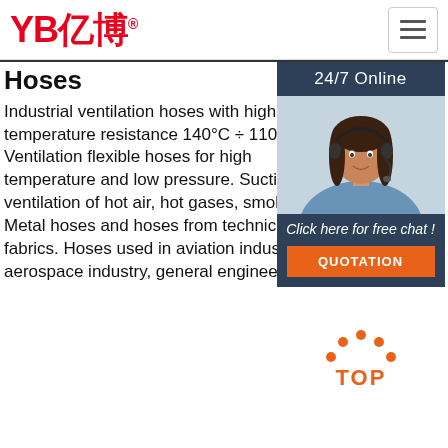[Figure (logo): YB亿博 company logo in red with registered trademark symbol]
Hoses
Industrial ventilation hoses with high temperature resistance 140°C ÷ 1100°C. Ventilation flexible hoses for high temperature and low pressure. Suction and ventilation of hot air, hot gases, smoke. Metal hoses and hoses from technical fabrics. Hoses used in aviation industry, aerospace industry, general engineering,
[Figure (photo): Customer support agent woman wearing headset, smiling. Above: '24/7 Online' text on dark blue background. Below: 'Click here for free chat !' text and orange QUOTATION button.]
[Figure (illustration): Orange dotted arc with TOP text below it in orange, serving as a back-to-top navigation button]